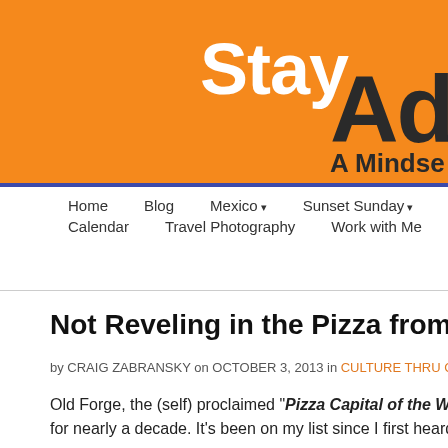[Figure (logo): Stay Adventures blog header banner with orange background, white 'Stay' text and dark 'Adv...' text, subtitle 'A Mindse...']
Home  Blog  Mexico ▾  Sunset Sunday ▾  Destination Serie...  Calendar  Travel Photography  Work with Me  About Craig ▾
Not Reveling in the Pizza from Revello's in Ol...
by CRAIG ZABRANSKY on OCTOBER 3, 2013 in CULTURE THRU CUISINE
Old Forge, the (self) proclaimed "Pizza Capital of the World," is a... for nearly a decade. It's been on my list since I first heard about the...